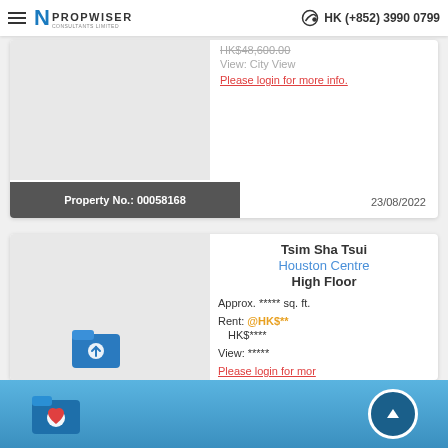Propwiser Consultants Limited | HK (+852) 3990 0799
HK$48,600.00
View: City View
Please login for more info.
Property No.: 00058168
23/08/2022
Tsim Sha Tsui
Houston Centre
High Floor
Approx. ***** sq. ft.
Rent: @HK$**
HK$****
View: *****
Please login for mor